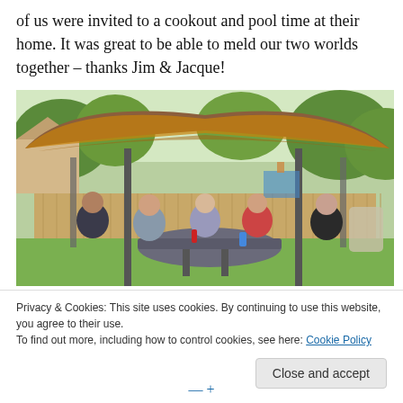of us were invited to a cookout and pool time at their home. It was great to be able to meld our two worlds together – thanks Jim & Jacque!
[Figure (photo): Group of five people sitting around a patio table under a large brown and orange gazebo canopy in a backyard with a wooden fence and green trees in the background.]
Privacy & Cookies: This site uses cookies. By continuing to use this website, you agree to their use.
To find out more, including how to control cookies, see here: Cookie Policy